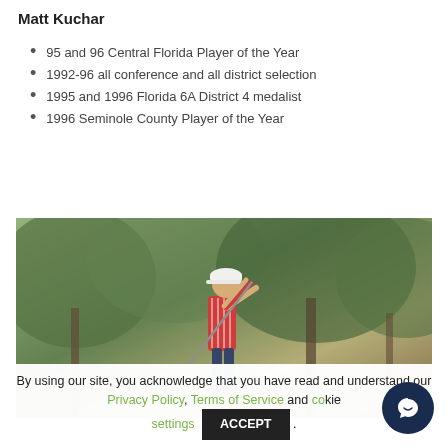Matt Kuchar
95 and 96 Central Florida Player of the Year
1992-96 all conference and all district selection
1995 and 1996 Florida 6A District 4 medalist
1996 Seminole County Player of the Year
[Figure (photo): Matt Kuchar swinging a golf club, wearing a red striped shirt and white cap, photographed outdoors with trees in background]
By using our site, you acknowledge that you have read and understand our Privacy Policy, Terms of Service and Cookie settings ACCEPT .